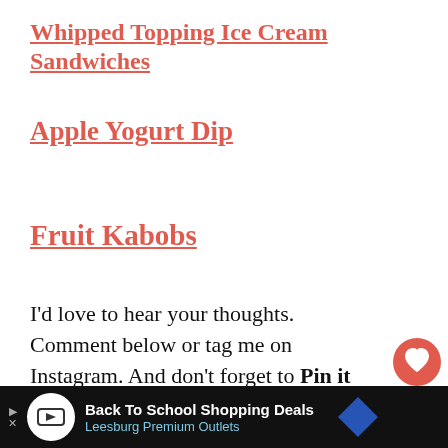Whipped Topping Ice Cream Sandwiches
Apple Yogurt Dip
Fruit Kabobs
I'd love to hear your thoughts. Comment below or tag me on Instagram. And don't forget to Pin it for later!
[Figure (other): Social share widget with heart icon showing 146 likes and a share button]
[Figure (other): Gold advertisement banner reading FIND THE ONE with a small animal thumbnail and WHAT'S NEXT label showing '100 Calorie Blueberry...']
[Figure (other): Black bottom ad bar: Back To School Shopping Deals, Leesburg Premium Outlets with logos]